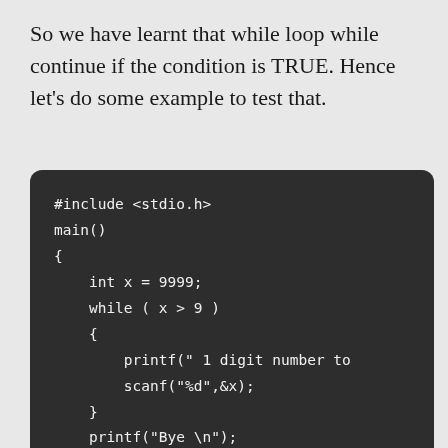So we have learnt that while loop while continue if the condition is TRUE. Hence let's do some example to test that.
[Figure (screenshot): Dark-themed code block showing a C program with a while loop: #include <stdio.h>, main(), { int x = 9999; while ( x > 9 ) { printf(" 1 digit number to", scanf("%d",&x); } printf("Bye \n"); }]